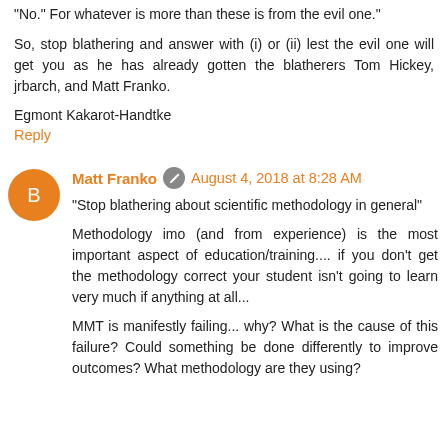“No.” For whatever is more than these is from the evil one.”
So, stop blathering and answer with (i) or (ii) lest the evil one will get you as he has already gotten the blatherers Tom Hickey, jrbarch, and Matt Franko.
Egmont Kakarot-Handtke
Reply
Matt Franko · August 4, 2018 at 8:28 AM
“Stop blathering about scientific methodology in general”
Methodology imo (and from experience) is the most important aspect of education/training.... if you don’t get the methodology correct your student isn’t going to learn very much if anything at all...
MMT is manifestly failing... why? What is the cause of this failure? Could something be done differently to improve outcomes? What methodology are they using?